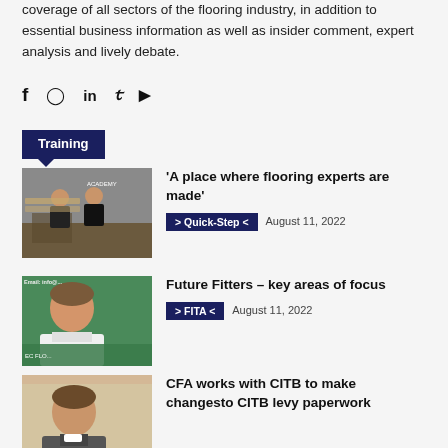coverage of all sectors of the flooring industry, in addition to essential business information as well as insider comment, expert analysis and lively debate.
[Figure (other): Social media icons: Facebook, Instagram, LinkedIn, Twitter, YouTube]
Training
[Figure (photo): Two workers installing flooring in a room]
'A place where flooring experts are made'
> Quick-Step <  August 11, 2022
[Figure (photo): Portrait of a smiling man in front of a green banner with email address visible]
Future Fitters – key areas of focus
> FITA <  August 11, 2022
[Figure (photo): Portrait of a man against a light background]
CFA works with CITB to make changesto CITB levy paperwork